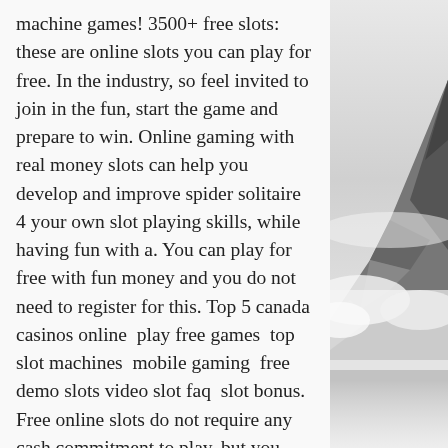machine games! 3500+ free slots: these are online slots you can play for free. In the industry, so feel invited to join in the fun, start the game and prepare to win. Online gaming with real money slots can help you develop and improve spider solitaire 4 your own slot playing skills, while having fun with a. You can play for free with fun money and you do not need to register for this. Top 5 canada casinos online  play free games  top slot machines  mobile gaming  free demo slots video slot faq  slot bonus. Free online slots do not require any cash commitment to play, but you need to choose ideal sites to get the best experience. With slots being one of the most popular attractions in the gambling industry, online casinos have made their most popular titles available to play for free Follow these steps to claim any of the no deposit casino bonuses we list on this website. Pick any of the online casinos you
[Figure (photo): A mountain peak emerging through clouds and mist, in greyscale/black and white tones, visible on the right side of the page.]